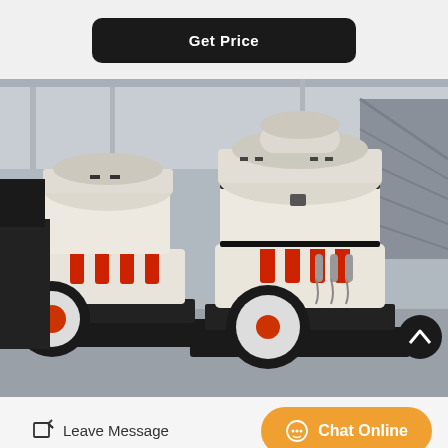Get Price
[Figure (photo): Two large cone crusher machines with white body, red hydraulic cylinders, and black bases/flywheels, displayed in an industrial facility.]
Leave Message
Chat Online